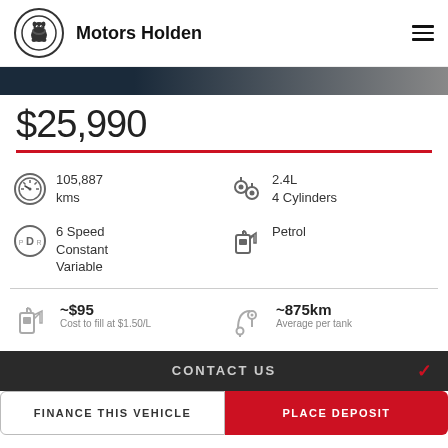Motors Holden
$25,990
105,887 kms
2.4L 4 Cylinders
6 Speed Constant Variable
Petrol
~$95 Cost to fill at $1.50/L
~875km Average per tank
CONTACT US
FINANCE THIS VEHICLE
PLACE DEPOSIT